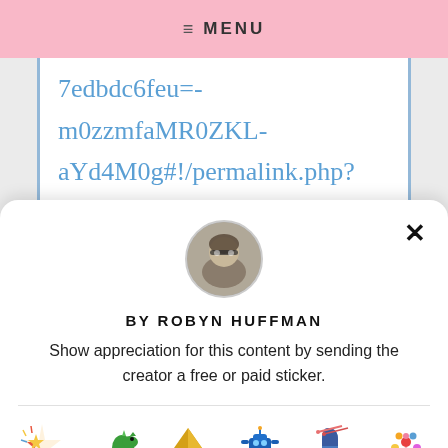MENU
[Figure (screenshot): Handwritten URL-like text in blue on white background: '7edbdc6feu=-m0zzmfaMR0ZKL- aYd4M0g#!/permalink.php?' with partial third line visible]
[Figure (photo): Circular avatar photo of Robyn Huffman, a person with glasses]
BY ROBYN HUFFMAN
Show appreciation for this content by sending the creator a free or paid sticker.
[Figure (illustration): Six sticker options with prices: Free (star/fireworks sticker), $1.00 (green dinosaur), $2.00 (gold origami crane), $4.00 (blue robot), $8.00 (blue knitted sock), $12.00 (flower bouquet)]